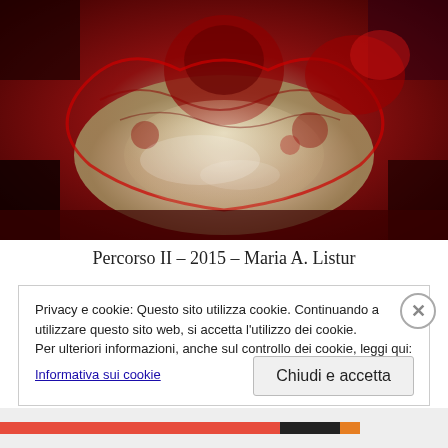[Figure (photo): Abstract digital art showing a heart-like shape made of red and silver/white liquid or metallic swirls on a dark red background]
Percorso II – 2015 – Maria A. Listur
Privacy e cookie: Questo sito utilizza cookie. Continuando a utilizzare questo sito web, si accetta l'utilizzo dei cookie.
Per ulteriori informazioni, anche sul controllo dei cookie, leggi qui:
Informativa sui cookie
Chiudi e accetta